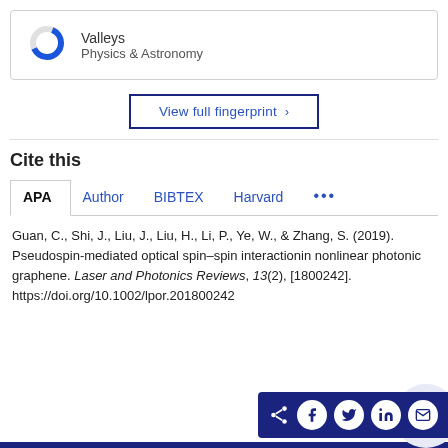[Figure (donut-chart): Partial donut/ring chart icon for Valleys keyword, Physics & Astronomy category]
Valleys
Physics & Astronomy
View full fingerprint ›
Cite this
APA  Author  BIBTEX  Harvard  •••
Guan, C., Shi, J., Liu, J., Liu, H., Li, P., Ye, W., & Zhang, S. (2019). Pseudospin-mediated optical spin–spin interactionin nonlinear photonic graphene. Laser and Photonics Reviews, 13(2), [1800242]. https://doi.org/10.1002/lpor.201800242